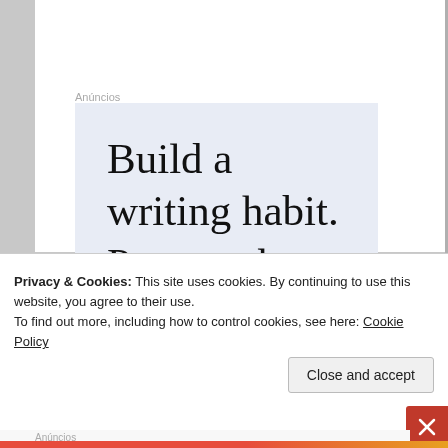Anúncios
[Figure (screenshot): Advertisement banner with light blue background showing text 'Build a writing habit. Post on the go.' with a blue app icon in the bottom right corner]
BLINKINK
Privacy & Cookies: This site uses cookies. By continuing to use this website, you agree to their use.
To find out more, including how to control cookies, see here: Cookie Policy
Close and accept
Anúncios